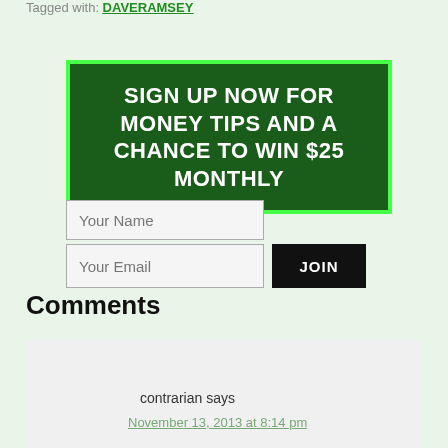Tagged with: DAVERAMSEY
[Figure (infographic): Dark green banner with bright green border containing text: SIGN UP NOW FOR MONEY TIPS AND A CHANCE TO WIN $25 MONTHLY in white bold uppercase letters]
Your Name [input field]
Your Email [input field] JOIN [button]
Comments
contrarian says
November 13, 2013 at 8:14 pm